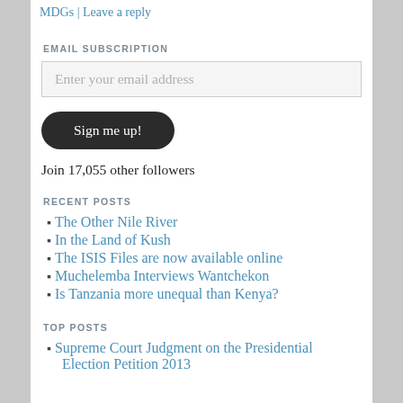MDGs | Leave a reply
EMAIL SUBSCRIPTION
Enter your email address
Sign me up!
Join 17,055 other followers
RECENT POSTS
The Other Nile River
In the Land of Kush
The ISIS Files are now available online
Muchelemba Interviews Wantchekon
Is Tanzania more unequal than Kenya?
TOP POSTS
Supreme Court Judgment on the Presidential Election Petition 2013